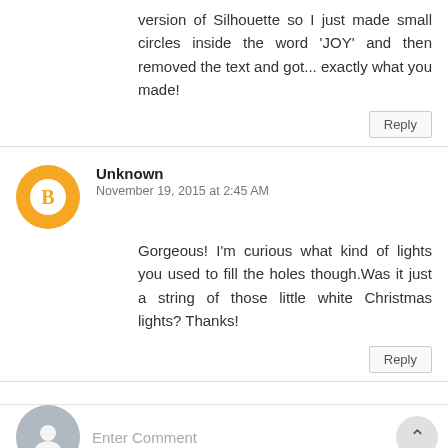version of Silhouette so I just made small circles inside the word 'JOY' and then removed the text and got... exactly what you made!
Reply
Unknown
November 19, 2015 at 2:45 AM
Gorgeous! I'm curious what kind of lights you used to fill the holes though.Was it just a string of those little white Christmas lights? Thanks!
Reply
Enter Comment